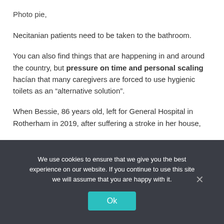Photo pie,
Necitanian patients need to be taken to the bathroom.
You can also find things that are happening in and around the country, but pressure on time and personal scaling hacían that many caregivers are forced to use hygienic toilets as an “alternative solution”.
When Bessie, 86 years old, left for General Hospital in Rotherham in 2019, after suffering a stroke in her house,
We use cookies to ensure that we give you the best experience on our website. If you continue to use this site we will assume that you are happy with it.